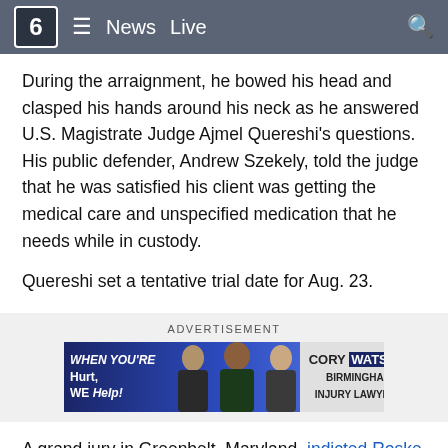6  ≡  News  Live  🔍
During the arraignment, he bowed his head and clasped his hands around his neck as he answered U.S. Magistrate Judge Ajmel Quereshi's questions. His public defender, Andrew Szekely, told the judge that he was satisfied his client was getting the medical care and unspecified medication that he needs while in custody.
Quereshi set a tentative trial date for Aug. 23.
[Figure (photo): Advertisement banner for Cory Watson Birmingham Injury Lawyers showing three attorneys with text 'WHEN YOU'RE Hurt, WE Help!']
A grand jury in Greenbelt, Maryland, indicted Roske on the charge last week. The charge carries a maximum sentence of life in prison.